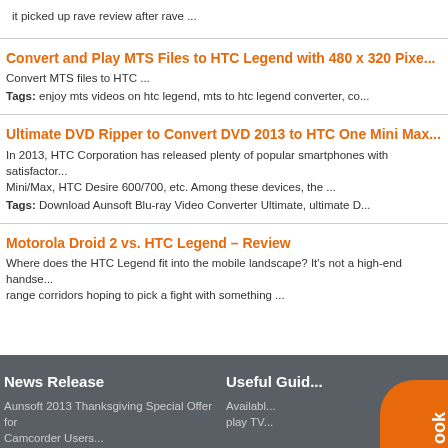it picked up rave review after rave ...
Convert and Play MTS Files to HTC Legend with 480 x 320 Pixe...
Convert MTS files to HTC ...
Tags: enjoy mts videos on htc legend, mts to htc legend converter, co...
Ultimate DVD Ripper to Convert DVD 2013 to HTC One Mini Max...
In 2013, HTC Corporation has released plenty of popular smartphones with satisfactor... Mini/Max, HTC Desire 600/700, etc. Among these devices, the ...
Tags: Download Aunsoft Blu-ray Video Converter Ultimate, ultimate D...
Motorola Droid 2 vs. HTC Legend – Review
Where does the HTC Legend fit into the mobile landscape? It's not a high-end handse... range corridors hoping to pick a fight with something ...
News Release | Useful Guid... | Aunsoft 2013 Thanksgiving Special Offer for Camcorder Users... | Availabl... play TV...